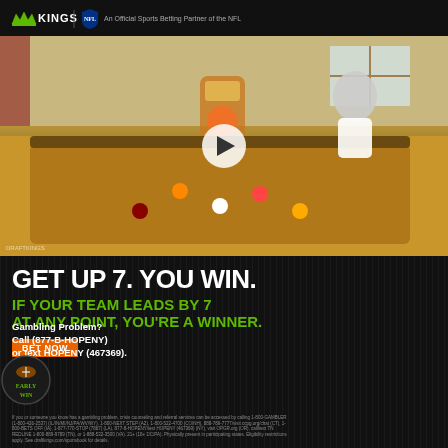DraftKings | NFL – An Official Sports Betting Partner of the NFL
[Figure (photo): Video thumbnail of a man (Kevin Hart) standing at a pool table in a game room. A play button overlay is visible in the center. The room has a jukebox, billiard balls on a green-felt table, and warm wooden decor. DraftKings watermark in bottom-left corner.]
GET UP 7. YOU WIN.
IF YOUR TEAM LEADS BY 7 AT ANY POINT, YOU'RE A WINNER.
BET NOW
Gambling Problem? Call (877-B-HOPENY) or text HOPENY (467369).
If you or someone you know has a gambling problem, crisis counseling and referral services can be accessed by calling 1-800-GAMBLER (1-800-426-2537) (IL/IN/MI/NJ/PA/WV/WY), 1-800-NEXT STEP (AZ), 1-800-522-4700 (CO/NH), 888-789-7777/visit ccpg.org/chat (CT), 1-800-BETS OFF (IA), 1-877-770-STOP (7867) (LA), 877-8-HOPENY/text HOPENY (467369) (NY), visit OPGR.org (OR), call/text TN REDLINE 1-800-889-9789 (TN), or 1-888-532-3500 (VA). 21+ (18+ DC/PA). Physically present in participating states. Eligibility restrictions apply. See draftkings.com/sportsbook for details.
[Figure (logo): Early Win promotional logo – circular badge with football motif and green text reading EARLY WIN]